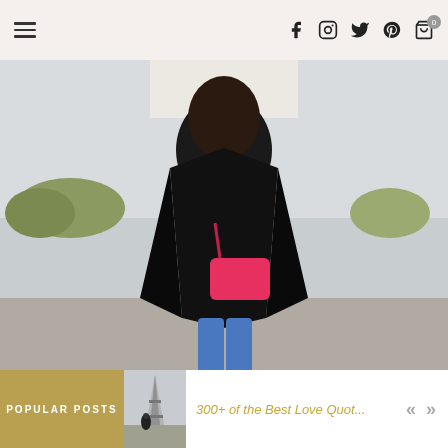Navigation header with hamburger menu and social icons (Facebook, Instagram, Twitter, Pinterest, Cart)
[Figure (photo): Woman from behind wearing a black coat, blue jeans, black flats, carrying a pink/red handbag, standing outdoors near water with trees in background]
POPULAR POSTS
[Figure (photo): Thumbnail image of Eiffel Tower with a person]
300+ of the Best Love Quot...